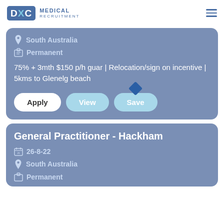DXC MEDICAL RECRUITMENT
South Australia
Permanent
75% + 3mth $150 p/h guar | Relocation/sign on incentive | 5kms to Glenelg beach
Apply | View | Save
General Practitioner - Hackham
26-8-22
South Australia
Permanent